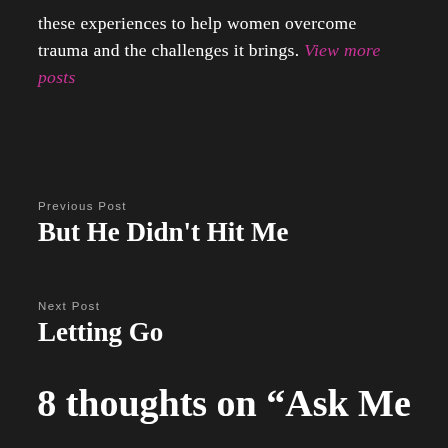these experiences to help women overcome trauma and the challenges it brings. View more posts
Previous Post
But He Didn't Hit Me
Next Post
Letting Go
8 thoughts on “Ask Me